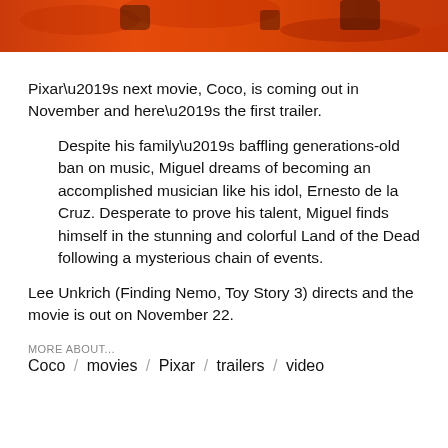[Figure (photo): Orange/red colorful background image, appears to be a decorative banner image related to the movie Coco]
Pixar’s next movie, Coco, is coming out in November and here’s the first trailer.
Despite his family’s baffling generations-old ban on music, Miguel dreams of becoming an accomplished musician like his idol, Ernesto de la Cruz. Desperate to prove his talent, Miguel finds himself in the stunning and colorful Land of the Dead following a mysterious chain of events.
Lee Unkrich (Finding Nemo, Toy Story 3) directs and the movie is out on November 22.
MORE ABOUT...
Coco / movies / Pixar / trailers / video